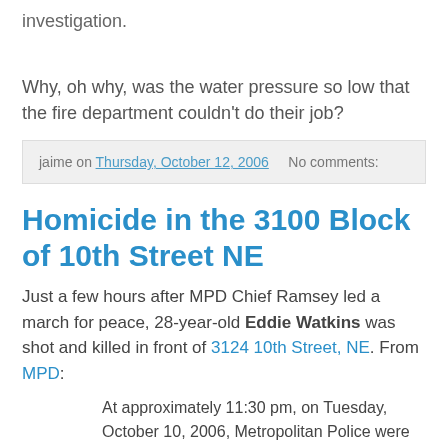investigation.
Why, oh why, was the water pressure so low that the fire department couldn't do their job?
jaime on Thursday, October 12, 2006    No comments:
Homicide in the 3100 Block of 10th Street NE
Just a few hours after MPD Chief Ramsey led a march for peace, 28-year-old Eddie Watkins was shot and killed in front of 3124 10th Street, NE. From MPD:
At approximately 11:30 pm, on Tuesday, October 10, 2006, Metropolitan Police were called to the front of a building located in the 3100 block of 10th Street, NE, to investigate the report of a